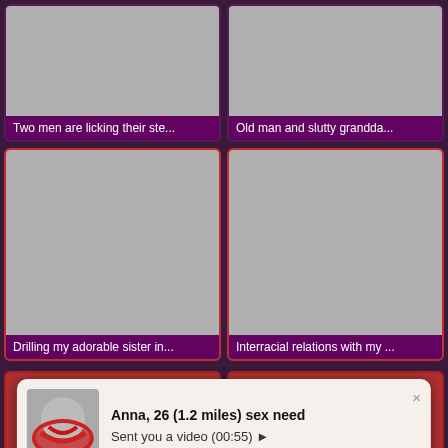[Figure (screenshot): Video thumbnail placeholder (gray) with purple label bar]
Two men are licking their ste...
[Figure (screenshot): Video thumbnail placeholder (gray) with purple label bar]
Old man and slutty grandda...
[Figure (screenshot): Larger video thumbnail placeholder (gray) with red border and purple label bar]
Drilling my adorable sister in...
[Figure (screenshot): Larger video thumbnail placeholder (gray) with red border and purple label bar]
Interracial relations with my ...
[Figure (screenshot): Notification popup overlay: Anna, 26 (1.2 miles) sex need - Sent you a video (00:55)]
Anna, 26 (1.2 miles) sex need
Sent you a video (00:55) ▶